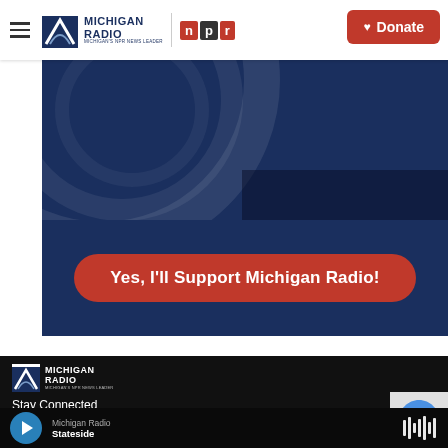Michigan Radio — Michigan's NPR News Leader | Donate
[Figure (illustration): Michigan Radio hero banner with dark navy background and curved arc design elements]
Yes, I'll Support Michigan Radio!
[Figure (logo): Michigan Radio logo — white version on black footer background]
Stay Connected
[Figure (other): reCAPTCHA widget partially visible on right side]
Michigan Radio Stateside
[Figure (other): Audio waveform/equalizer icon on right side of player bar]